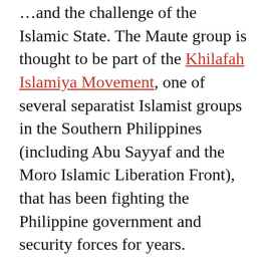…and the challenge of the Islamic State. The Maute group is thought to be part of the Khilafah Islamiya Movement, one of several separatist Islamist groups in the Southern Philippines (including Abu Sayyaf and the Moro Islamic Liberation Front), that has been fighting the Philippine government and security forces for years.
While U.S. special operations forces rejoin the active fight against these separatist groups, several media outlets have argued that the Islamic State's encroachment into the Philippines is a result of Philippine President Rodrigo Duterte's negligence toward